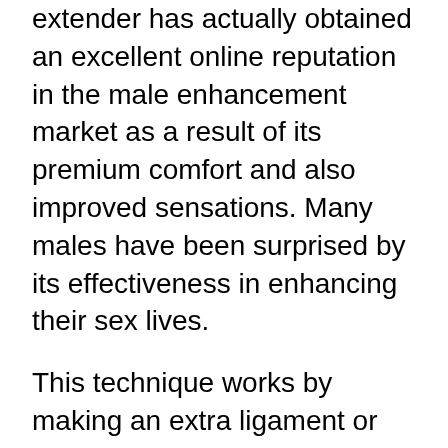extender has actually obtained an excellent online reputation in the male enhancement market as a result of its premium comfort and also improved sensations. Many males have been surprised by its effectiveness in enhancing their sex lives.
This technique works by making an extra ligament or cells referred to as the “dick string” link to the base of the shaft. The “cock thread” provides the penis a lot more assistance when it stretches better. To make sure that the penis is stretched correctly, the penis ought to be firmly pressed against the stretched location. dick extension is easy to use; it has a stretchy round loophole that connects to the head of the penis. The “penis thread” is after that placed into the